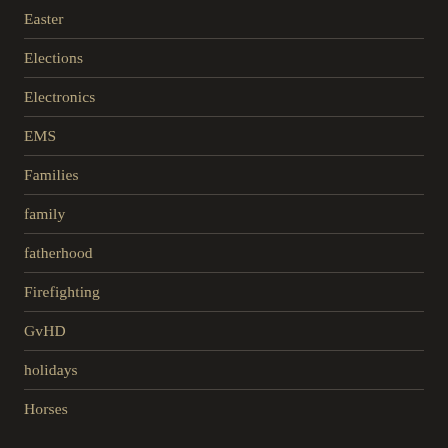Easter
Elections
Electronics
EMS
Families
family
fatherhood
Firefighting
GvHD
holidays
Horses